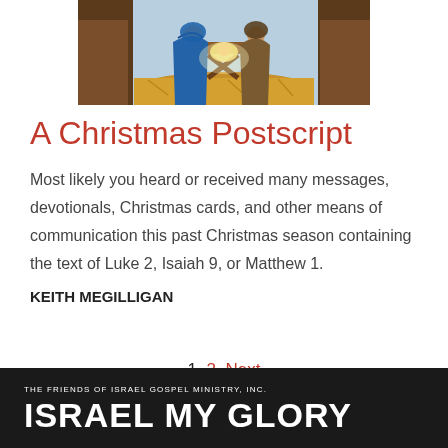[Figure (illustration): Nativity scene painting showing Mary with baby Jesus in a manger, with wooden stable elements and colorful robes in blue, brown, and orange/yellow tones.]
A Christmas Postscript
Most likely you heard or received many messages, devotionals, Christmas cards, and other means of communication this past Christmas season containing the text of Luke 2, Isaiah 9, or Matthew 1.
KEITH MEGILLIGAN
1  2  Next
THE FRIENDS OF ISRAEL GOSPEL MINISTRY, INC.
ISRAEL MY GLORY